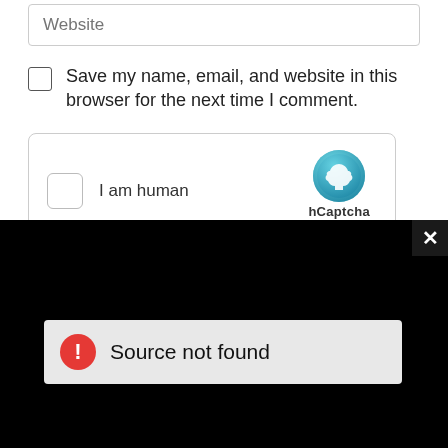Website
Save my name, email, and website in this browser for the next time I comment.
[Figure (screenshot): hCaptcha widget with checkbox and 'I am human' label, hCaptcha logo, Privacy and Terms links]
[Figure (screenshot): Black video player area with 'Source not found' error bar containing red error icon and text]